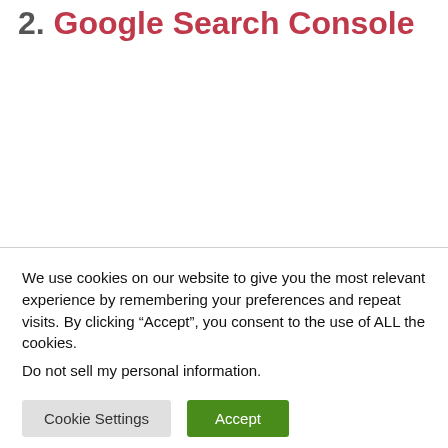2. Google Search Console
We use cookies on our website to give you the most relevant experience by remembering your preferences and repeat visits. By clicking “Accept”, you consent to the use of ALL the cookies.
Do not sell my personal information.
Cookie Settings   Accept